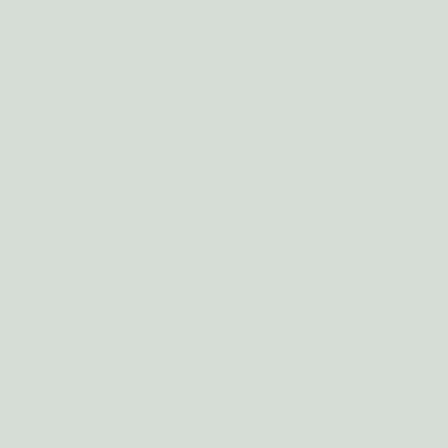Versus Efficiency, Economica, London School of Economics and Political Science, vol. 78(310), pages 197-214, April.
RIP Armen Alchian by Nolan, 2013-02-20 00:17
Alchian, Armen & Demsetz, Harold. 1972. "Production, Information Costs, and Economic Organization," American Economic Review, American Economic Association, vol. 62(5), pages 777-795, December.
Other version(s):
Top of page Armen A. Alchian &